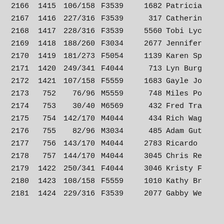| Col1 | Col2 | Col3 | Col4 | Col5 | Col6 |
| --- | --- | --- | --- | --- | --- |
| 2166 | 1415 | 106/158 | F3539 | 1682 | Patricia |
| 2167 | 1416 | 227/316 | F3539 | 317 | Catherin |
| 2168 | 1417 | 228/316 | F3539 | 5560 | Tobi Lyc |
| 2169 | 1418 | 188/260 | F3034 | 2677 | Jennifer |
| 2170 | 1419 | 181/273 | F5054 | 1139 | Karen Sp |
| 2171 | 1420 | 249/341 | F4044 | 713 | Lyn Burg |
| 2172 | 1421 | 107/158 | F5559 | 1683 | Gayle Jo |
| 2173 | 752 | 76/96 | M5559 | 748 | Miles Po |
| 2174 | 753 | 30/40 | M6569 | 432 | Fred Tra |
| 2175 | 754 | 142/170 | M4044 | 434 | Rich Wag |
| 2176 | 755 | 82/96 | M3034 | 485 | Adam Gut |
| 2177 | 756 | 143/170 | M4044 | 2783 | Ricardo |
| 2178 | 757 | 144/170 | M4044 | 3045 | Chris Re |
| 2179 | 1422 | 250/341 | F4044 | 3046 | Kristy F |
| 2180 | 1423 | 108/158 | F5559 | 1010 | Kathy Br |
| 2181 | 1424 | 229/316 | F3539 | 2077 | Gabby We |